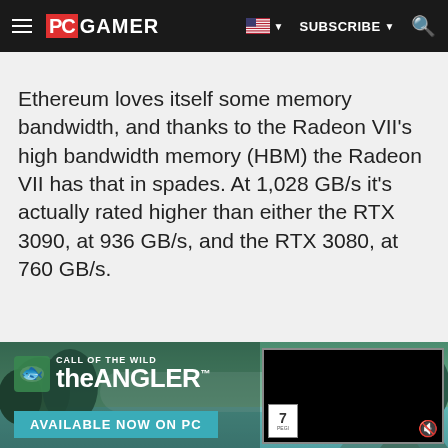PC GAMER | SUBSCRIBE
Ethereum loves itself some memory bandwidth, and thanks to the Radeon VII's high bandwidth memory (HBM) the Radeon VII has that in spades. At 1,028 GB/s it's actually rated higher than either the RTX 3090, at 936 GB/s, and the RTX 3080, at 760 GB/s.
[Figure (infographic): Call of the Wild: The Angler game advertisement banner with nature background (forest, lake, mountains). Includes game logo, 'Available Now on PC' button, and a black video player panel with PEGI 7 rating badge and mute icon.]